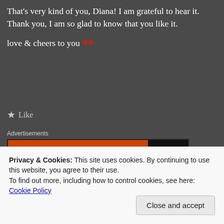That’s very kind of you, Diana! I am grateful to hear it. Thank you, I am so glad to know that you like it.
love & cheers to you ❤️❤️
★ Like
Advertisements
[Figure (screenshot): DuckDuckGo advertisement banner: orange background with text 'Search, browse, and email with more privacy. All in One Free App' and DuckDuckGo logo on black background on the right.]
Privacy & Cookies: This site uses cookies. By continuing to use this website, you agree to their use.
To find out more, including how to control cookies, see here: Cookie Policy
Close and accept